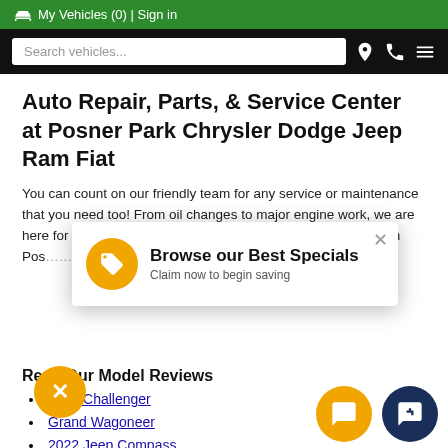🚗 My Vehicles (0) | Sign in
[Figure (screenshot): Black navigation bar with search vehicles input, location pin icon, phone icon, and hamburger menu icon]
Auto Repair, Parts, & Service Center at Posner Park Chrysler Dodge Jeep Ram Fiat
You can count on our friendly team for any service or maintenance that you need too! From oil changes to major engine work, we are here for you. You can always count on getting a great deal from Pos… e Low Pay…
[Figure (screenshot): Popup card: Browse our Best Specials - Claim now to begin saving, with orange tag icon and X close button]
Read Our Model Reviews
Dodge Challenger
Grand Wagoneer
2022 Jeep Compass
2022 Jeep Gladiator
2022 Jeep Grand Che…